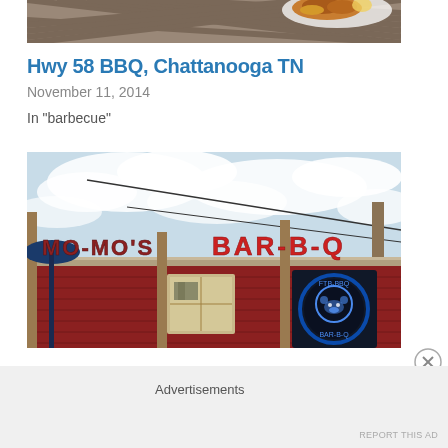[Figure (photo): Top portion of a food photo showing what appears to be BBQ food in a white styrofoam container with a diamond-pattern metal background]
Hwy 58 BBQ, Chattanooga TN
November 11, 2014
In "barbecue"
[Figure (photo): Exterior photo of Mo-Mo's BAR-B-Q restaurant building with red barn-style siding, a large sign reading 'MO-MO'S BAR-B-Q' in red letters on the roofline, and a circular neon-style pig BBQ logo sign visible in the window, with a partly cloudy sky in the background]
Advertisements
REPORT THIS AD